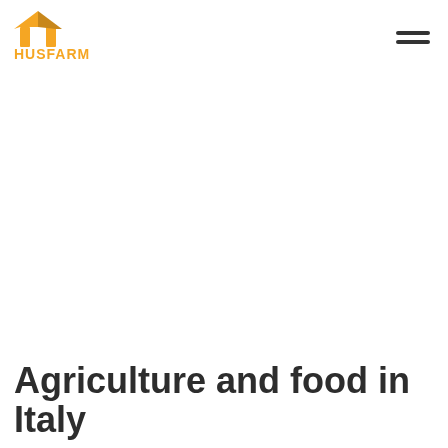HUSFARM
Agriculture and food in Italy